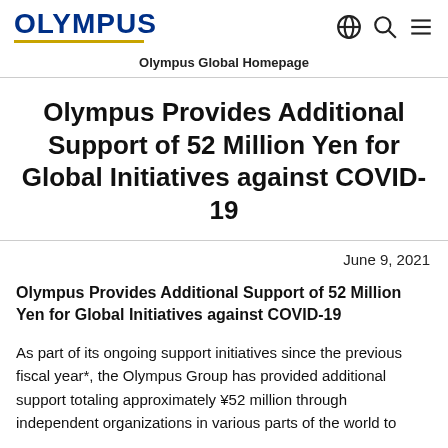OLYMPUS
Olympus Global Homepage
Olympus Provides Additional Support of 52 Million Yen for Global Initiatives against COVID-19
June 9, 2021
Olympus Provides Additional Support of 52 Million Yen for Global Initiatives against COVID-19
As part of its ongoing support initiatives since the previous fiscal year*, the Olympus Group has provided additional support totaling approximately ¥52 million through independent organizations in various parts of the world to